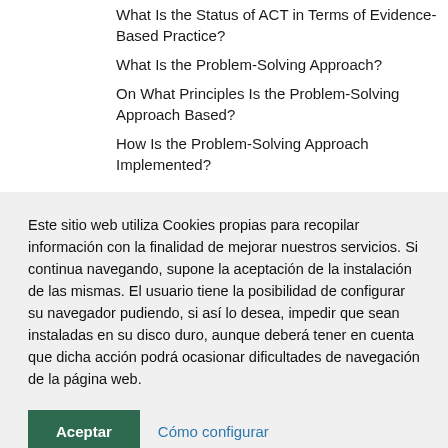What Is the Status of ACT in Terms of Evidence-Based Practice?
What Is the Problem-Solving Approach?
On What Principles Is the Problem-Solving Approach Based?
How Is the Problem-Solving Approach Implemented?
Este sitio web utiliza Cookies propias para recopilar información con la finalidad de mejorar nuestros servicios. Si continua navegando, supone la aceptación de la instalación de las mismas. El usuario tiene la posibilidad de configurar su navegador pudiendo, si así lo desea, impedir que sean instaladas en su disco duro, aunque deberá tener en cuenta que dicha acción podrá ocasionar dificultades de navegación de la página web.
Aceptar
Cómo configurar